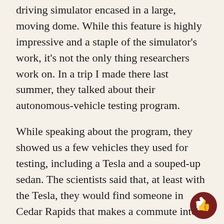driving simulator encased in a large, moving dome. While this feature is highly impressive and a staple of the simulator's work, it's not the only thing researchers work on. In a trip I made there last summer, they talked about their autonomous-vehicle testing program.
While speaking about the program, they showed us a few vehicles they used for testing, including a Tesla and a souped-up sedan. The scientists said that, at least with the Tesla, they would find someone in Cedar Rapids that makes a commute into Iowa City daily, and they would allow that person to check out the Tesla. As the person drives the car, data is recorded, and researchers are able to review it when the Tesla is checked back in.